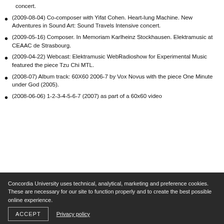concert.
(2009-08-04) Co-composer with Yifat Cohen. Heart-lung Machine. New Adventures in Sound Art: Sound Travels Intensive concert.
(2009-05-16) Composer. In Memoriam Karlheinz Stockhausen. Elektramusic at CEAAC de Strasbourg.
(2009-04-22) Webcast: Elektramusic WebRadioshow for Experimental Music featured the piece Tzu Chi MTL.
(2008-07) Album track: 60X60 2006-7 by Vox Novus with the piece One Minute under God (2005).
(2008-06-06) 1-2-3-4-5-6-7 (2007) as part of a 60x60 video
Concordia University uses technical, analytical, marketing and preference cookies. These are necessary for our site to function properly and to create the best possible online experience.
ACCEPT
Privacy policy